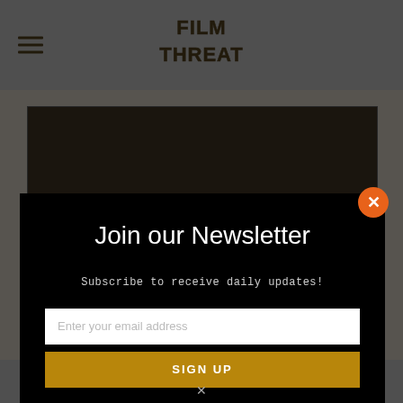[Figure (screenshot): Film Threat website header with hamburger menu and Film Threat logo on grey background]
[Figure (screenshot): Partially visible article card with text 'When We Were Strangers' and an image strip below]
[Figure (screenshot): Newsletter signup modal popup on dark overlay with orange close button. Contains title 'Join our Newsletter', subtitle 'Subscribe to receive daily updates!', email input field, and SIGN UP button]
Join our Newsletter
Subscribe to receive daily updates!
Enter your email address
SIGN UP
When We Were Strangers